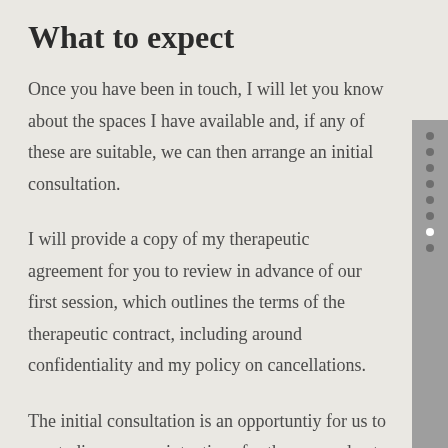What to expect
Once you have been in touch, I will let you know about the spaces I have available and, if any of these are suitable, we can then arrange an initial consultation.
I will provide a copy of my therapeutic agreement for you to review in advance of our first session, which outlines the terms of the therapeutic contract, including around confidentiality and my policy on cancellations.
The initial consultation is an opportuntiy for us to meet, discuss your intentions for therapy and get a sense of what working together in a therapeutic relationship might be like. It’s also an